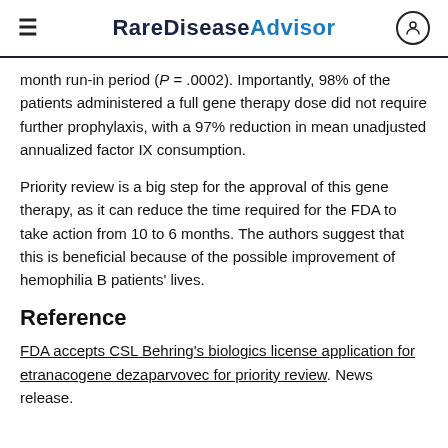RareDisease Advisor
month run-in period (P = .0002). Importantly, 98% of the patients administered a full gene therapy dose did not require further prophylaxis, with a 97% reduction in mean unadjusted annualized factor IX consumption.
Priority review is a big step for the approval of this gene therapy, as it can reduce the time required for the FDA to take action from 10 to 6 months. The authors suggest that this is beneficial because of the possible improvement of hemophilia B patients' lives.
Reference
FDA accepts CSL Behring's biologics license application for etranacogene dezaparvovec for priority review. News release.